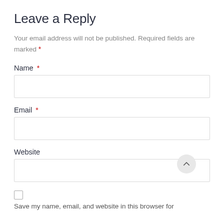Leave a Reply
Your email address will not be published. Required fields are marked *
Name *
Email *
Website
Save my name, email, and website in this browser for